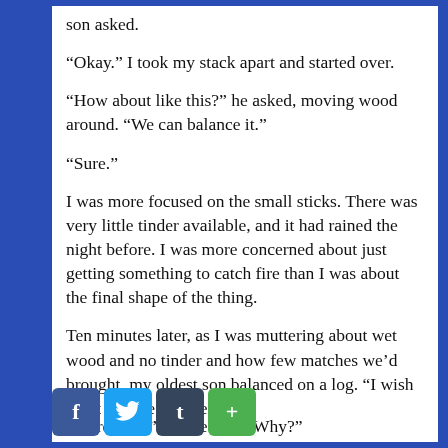son asked.
“Okay.” I took my stack apart and started over.
“How about like this?” he asked, moving wood around. “We can balance it.”
“Sure.”
I was more focused on the small sticks. There was very little tinder available, and it had rained the night before. I was more concerned about just getting something to catch fire than I was about the final shape of the thing.
Ten minutes later, as I was muttering about wet wood and no tinder and how few matches we’d brought, my oldest son balanced on a log. “I wish Aunt Helene was here.”
[Figure (infographic): Social media sharing icons: Facebook (f), Twitter (bird), Tumblr (t), and a green plus (+) button]
“Were here,” I corrected. “Why?”